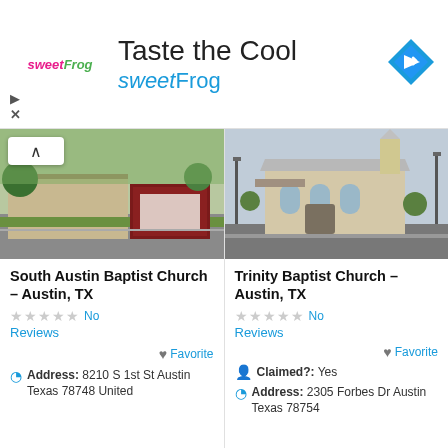[Figure (screenshot): sweetFrog advertisement banner with logo, 'Taste the Cool' text, and navigation icon]
[Figure (photo): South Austin Baptist Church exterior with sign]
South Austin Baptist Church – Austin, TX
No Reviews
Favorite
Address: 8210 S 1st St Austin Texas 78748 United
[Figure (photo): Trinity Baptist Church exterior building]
Trinity Baptist Church – Austin, TX
No Reviews
Favorite
Claimed?: Yes
Address: 2305 Forbes Dr Austin Texas 78754